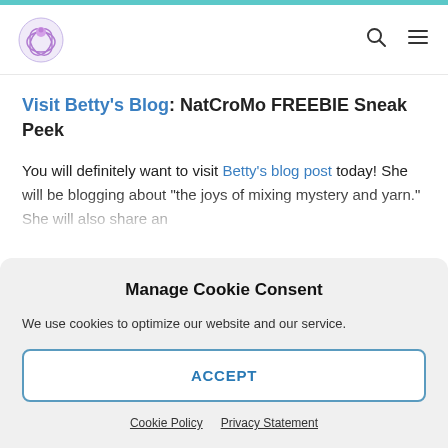Navigation header with logo, search icon, and menu icon
Visit Betty's Blog: NatCroMo FREEBIE Sneak Peek
You will definitely want to visit Betty's blog post today! She will be blogging about "the joys of mixing mystery and yarn." She will also share an
Manage Cookie Consent
We use cookies to optimize our website and our service.
ACCEPT
Cookie Policy   Privacy Statement